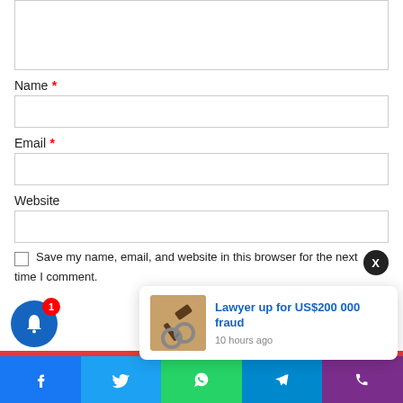Name *
Email *
Website
Save my name, email, and website in this browser for the next time I comment.
[Figure (screenshot): Notification popup showing article 'Lawyer up for US$200 000 fraud' with a law/gavel image, posted 10 hours ago, with a close X button]
[Figure (infographic): Blue bell notification icon with red badge showing '1']
[Figure (infographic): Bottom navigation bar with social sharing icons: Facebook, Twitter, WhatsApp, Telegram, Phone]